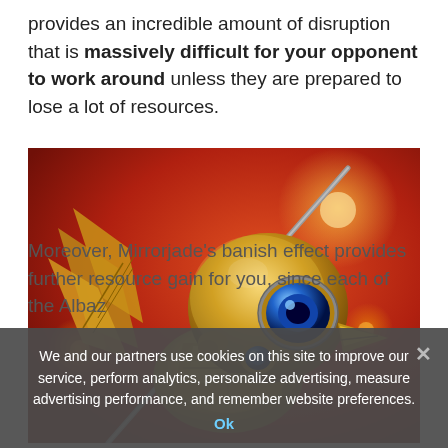provides an incredible amount of disruption that is massively difficult for your opponent to work around unless they are prepared to lose a lot of resources.
[Figure (illustration): Illustration of a golden mechanical/robotic fish-like creature with blue eyes holding a staff/rod, against a red fiery background with glowing orbs]
Moreover, Mirrorjade's banish effect provides further resource gain for you, since each of the Albaz
We and our partners use cookies on this site to improve our service, perform analytics, personalize advertising, measure advertising performance, and remember website preferences.
Ok